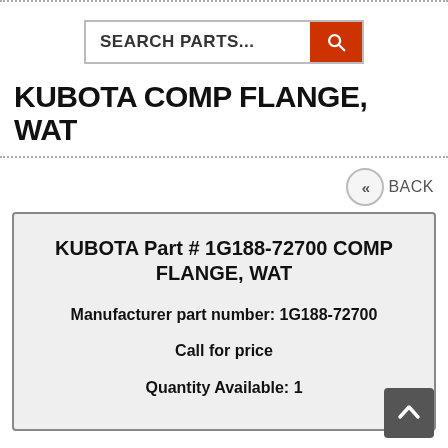[Figure (screenshot): Search bar with text 'SEARCH PARTS...' and an orange search button with magnifying glass icon]
KUBOTA COMP FLANGE, WAT
<< BACK
KUBOTA Part # 1G188-72700 COMP FLANGE, WAT

Manufacturer part number: 1G188-72700

Call for price

Quantity Available: 1